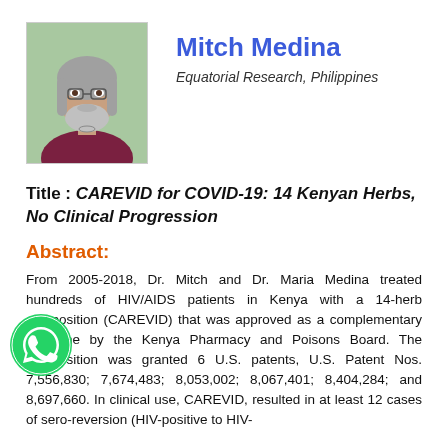[Figure (photo): Profile photo of Mitch Medina, a middle-aged man with long grey hair and beard, wearing a dark red/maroon shirt, outdoors background.]
Mitch Medina
Equatorial Research, Philippines
Title : CAREVID for COVID-19: 14 Kenyan Herbs, No Clinical Progression
Abstract:
From 2005-2018, Dr. Mitch and Dr. Maria Medina treated hundreds of HIV/AIDS patients in Kenya with a 14-herb composition (CAREVID) that was approved as a complementary medicine by the Kenya Pharmacy and Poisons Board. The composition was granted 6 U.S. patents, U.S. Patent Nos. 7,556,830; 7,674,483; 8,053,002; 8,067,401; 8,404,284; and 8,697,660. In clinical use, CAREVID, resulted in at least 12 cases of sero-reversion (HIV-positive to HIV-